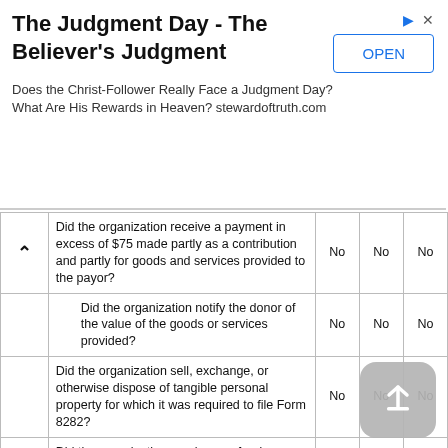[Figure (other): Advertisement banner for 'The Judgment Day - The Believer's Judgment' with OPEN button and arrow/close icons]
| Question | No | No | No |
| --- | --- | --- | --- |
| Did the organization receive a payment in excess of $75 made partly as a contribution and partly for goods and services provided to the payor? | No | No | No |
| Did the organization notify the donor of the value of the goods or services provided? | No | No | No |
| Did the organization sell, exchange, or otherwise dispose of tangible personal property for which it was required to file Form 8282? | No | No | No |
| Did the organization receive any funds, directly or indirectly, to pay premiums on a personal benefit contract? | No | No | No |
| Did the organization, during the year, pay premiums, directly or indirectly, on a personal benefit contract? | No | No | No |
| If the organization received a contribution of qualified intellectual property, did the organization file Form 8899 as required? | No | No | No |
| If the organization received a contribution of cars, boats, airplanes, or other vehicles, did the organization file a Form 1098-C? | No | No | No |